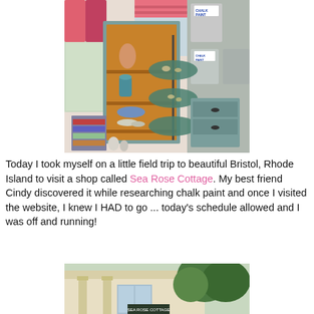[Figure (photo): Interior of Sea Rose Cottage shop showing a teal painted corner cabinet with orange shelves holding decorative vases and plates, a tiered stand with shells, and cans of Chalk Paint on a shelf to the right. Pink striped roman shades visible on windows.]
Today I took myself on a little field trip to beautiful Bristol, Rhode Island to visit a shop called Sea Rose Cottage. My best friend Cindy discovered it while researching chalk paint and once I visited the website, I knew I HAD to go ... today's schedule allowed and I was off and running!
[Figure (photo): Exterior of a building with a yellow/cream facade, columns, and green trees visible behind it. Appears to be the Sea Rose Cottage shop exterior.]